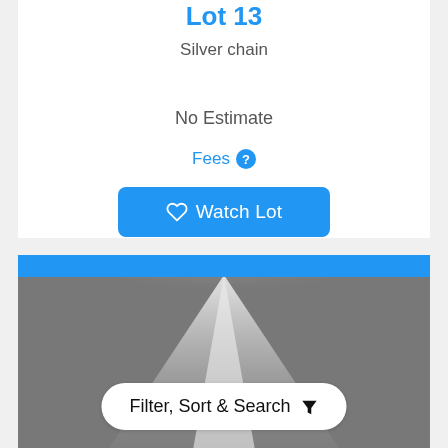Lot 13
Silver chain
No Estimate
Fees ?
Watch Lot
[Figure (illustration): Spotlight beam shining downward on a dark gray background]
Filter, Sort & Search